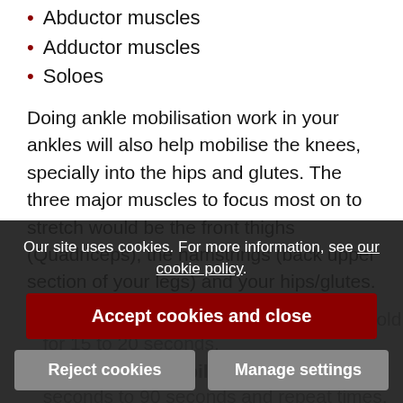Abductor muscles
Adductor muscles
Soloes
Doing ankle mobilisation work in your ankles will also help mobilise the knees, specially into the hips and glutes. The three major muscles to focus most on to stretch would be the front thighs (Quadriceps), the hamstrings (back upper section of your legs) and your hips/glutes.
To maintain your current flexibility: Hold for 15 to 20 seconds.
To improve flexibility: Hold for 30 seconds to 90 seconds and repeat times.
Try to repeat exercises more than once and use a variety of stretches, not just one all the time. There are different types of stretching simply...
Our site uses cookies. For more information, see our cookie policy. Accept cookies and close. Reject cookies. Manage settings.